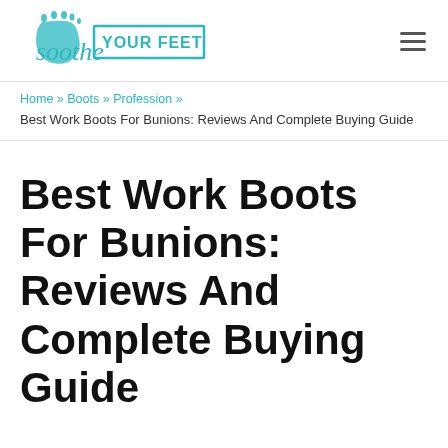Soothe YOUR FEET
Home » Boots » Profession » Best Work Boots For Bunions: Reviews And Complete Buying Guide
Best Work Boots For Bunions: Reviews And Complete Buying Guide